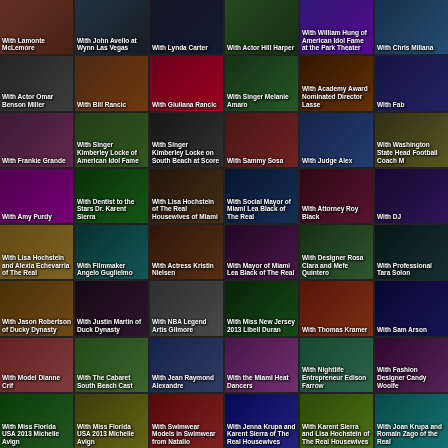[Figure (photo-grid): A photo grid of 48 celebrity photos with captions. Row 1: With Lamonte McLemore; With John Avello at Wynn Las Vegas; With Lynda Carter; With Actor Hill Harper; With William Hung of American Idol Fame at the Park Theater; With Chris Miliana. Row 2: With Actor Omar Benson Miller; With Bill Rancic; With Giuliana Rancic; With Singer Melanie Amaro; With Academy Award Nominated Director Lasse; With Fab. Row 3: With Frankie Grande; With Singer Kimberley Locke of American Idol Fame; With Singer Kimberley Locke on South Beach at Score; With Sammy Sosa; With Judge Alex; With Washington State Head Football Coach M. Row 4: With Amy Purdy; With Dentist to the Stars Dr. Karent Sierra; With Lisa Hochstein of The Real Housewives of Miami; With Social Mayor of Miami Lea Black of The Real; With Attorney Roy Black; With DJ. Row 5: With Lisa Hochstein and Alexia Echevarria of The Real; With Filmmaker Angelo Guglielmo; With Actress Kristin Nielsen; With Mayor of Miami Lea Black of The Real; With Designer Rosa Clara and Mefe Quintero; With Professional Tara Solon. Row 6: With Jason Robertson of Ducky Dynasty; With Justin Martin of Duck Dynasty; With NBA Legend Artis Gilmore; With Miss New Jersey 2013 Libell Duran; With Thomas Kramer; With Sam Arson. Row 7: With Model Dianne Crif; With The Cabaret South Beach Cast; With Jean Raymond Alexandre; With the Miami Heat Dancers; With Nightlife Entrepreneur Edison Farrow; With Fashion Designer Candy Woolfe. Row 8: With Miss Florida USA 2013 Michelle Avign; With Miss Florida USA 2013 Michelle Avign; With Swimwear Models in Swimwear from Natalio; With Jenna Krupa and Karent Sierra of The Real Housewives; With Karent Sierra and Lisa Hochstein of The Real Housewives; With Joan Krupa and Romain Zago of the Real.]